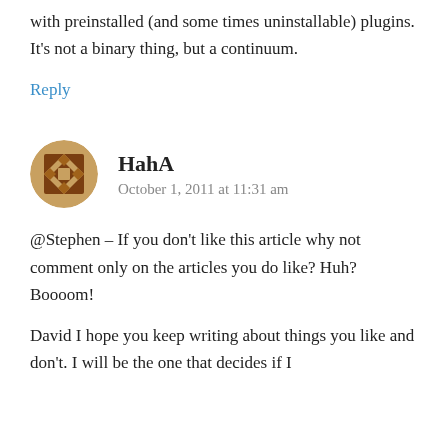with preinstalled (and some times uninstallable) plugins. It's not a binary thing, but a continuum.
Reply
HahA
October 1, 2011 at 11:31 am
@Stephen – If you don't like this article why not comment only on the articles you do like? Huh? Boooom!
David I hope you keep writing about things you like and don't. I will be the one that decides if I